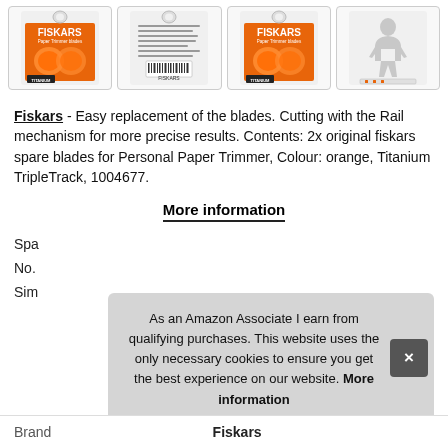[Figure (photo): Four product images of Fiskars Paper Trimmer blades: front of package (orange), back of package, front again, and a silhouette/scale figure.]
Fiskars - Easy replacement of the blades. Cutting with the Rail mechanism for more precise results. Contents: 2x original fiskars spare blades for Personal Paper Trimmer, Colour: orange, Titanium TripleTrack, 1004677.
More information
Spa
No.
Sim
As an Amazon Associate I earn from qualifying purchases. This website uses the only necessary cookies to ensure you get the best experience on our website. More information
| Brand |
| --- |
| Fiskars |